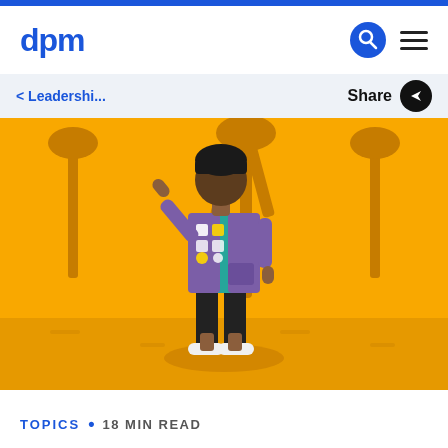dpm
< Leadershi...   Share
[Figure (illustration): Illustrated character of a person wearing a purple scout-like vest with badges over a teal shirt and dark pants, standing on a yellow/amber background with stylized trees. The person has one arm raised.]
TOPICS • 18 MIN READ